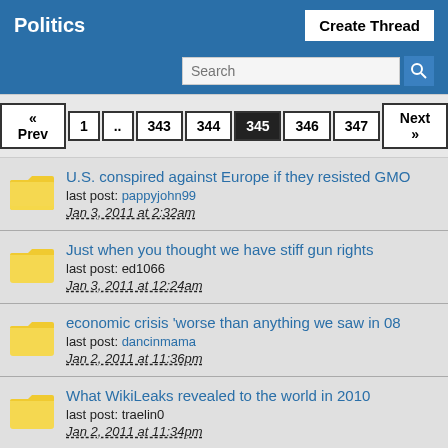Politics
Create Thread
Search
« Prev 1 .. 343 344 345 346 347 Next »
U.S. conspired against Europe if they resisted GMO
last post: pappyjohn99
Jan 3, 2011 at 2:32am
Just when you thought we have stiff gun rights
last post: ed1066
Jan 3, 2011 at 12:24am
economic crisis 'worse than anything we saw in 08
last post: dancinmama
Jan 2, 2011 at 11:36pm
What WikiLeaks revealed to the world in 2010
last post: traelin0
Jan 2, 2011 at 11:34pm
Aaron Sorkin's shot at Sarah Palin